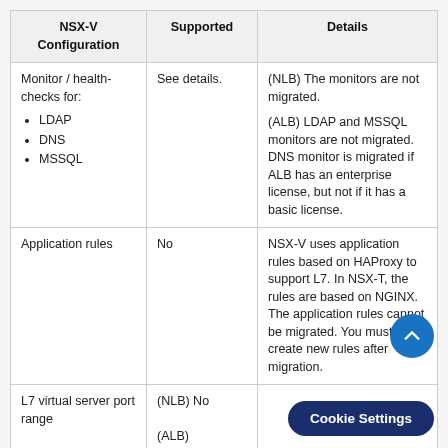| NSX-V Configuration | Supported | Details |
| --- | --- | --- |
| Monitor / health-checks for:
• LDAP
• DNS
• MSSQL | See details. | (NLB) The monitors are not migrated.

(ALB) LDAP and MSSQL monitors are not migrated. DNS monitor is migrated if ALB has an enterprise license, but not if it has a basic license. |
| Application rules | No | NSX-V uses application rules based on HAProxy to support L7. In NSX-T, the rules are based on NGINX. The application rules cannot be migrated. You must create new rules after migration. |
| L7 virtual server port range | (NLB) No

(ALB) Yes |  |